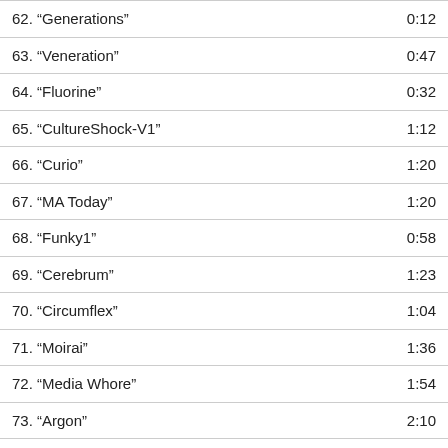| Track | Duration |
| --- | --- |
| 62. “Generations” | 0:12 |
| 63. “Veneration” | 0:47 |
| 64. “Fluorine” | 0:32 |
| 65. “CultureShock-V1” | 1:12 |
| 66. “Curio” | 1:20 |
| 67. “MA Today” | 1:20 |
| 68. “Funky1” | 0:58 |
| 69. “Cerebrum” | 1:23 |
| 70. “Circumflex” | 1:04 |
| 71. “Moirai” | 1:36 |
| 72. “Media Whore” | 1:54 |
| 73. “Argon” | 2:10 |
| 74. “Electrical” | 1:50 |
| 75. “Hyperion” | 2:33 |
| 76. “Bejabers” | 3:26 |
| 77. “Demirelief” | 3:23 |
| 78. “Evocation” | 2:29 |
| 79. “Scepter” | 2:32 |
| 80. “Cathectic” | 2:10 |
| 81. “Anomaly” | 1:36 |
| 82. “Oberland” | 2:15 |